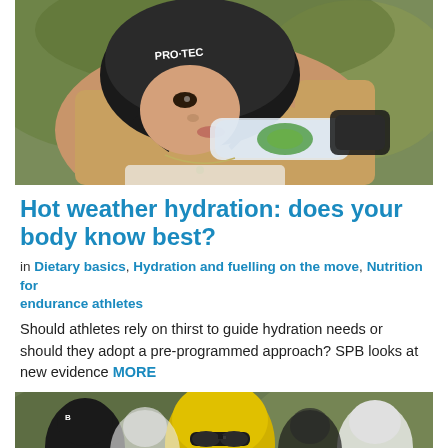[Figure (photo): Young woman wearing a black PRO-TEC helmet and wrist guards drinking from a clear water bottle outdoors]
Hot weather hydration: does your body know best?
in Dietary basics, Hydration and fuelling on the move, Nutrition for endurance athletes
Should athletes rely on thirst to guide hydration needs or should they adopt a pre-programmed approach? SPB looks at new evidence MORE
[Figure (photo): Cyclists wearing helmets and sunglasses racing, one in a yellow helmet prominently in the center]